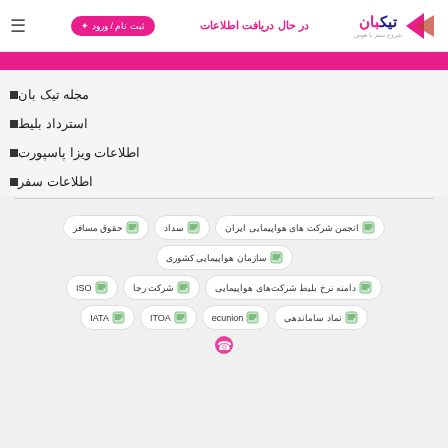در حال دریافت اطلاعات | ثبت نام / ورود | تیک بان
مجله تیک بان
استرداد بلیط
اطلاعات ویزا پاسپورت
اطلاعات سفر
انجمن شرکت های هواپیمایی ایران
سداد
حقوق مسافر
سازمان هواپیمایی کشوری
دامنه نرخ بلیط شرکت‌های هواپیمایی
شرکت رجا
ISO
نماد ساماندهی
ecunion
ITOA
IATA